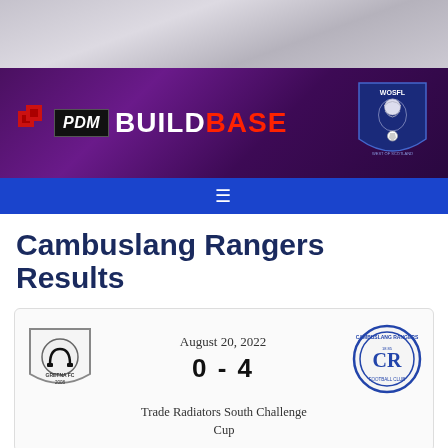[Figure (photo): Hero background photo of a football/soccer scene, grey-toned]
[Figure (logo): PDM Buildbase sponsor banner with WOSFL (West of Scotland Football League) lion shield logo on purple background]
Cambuslang Rangers Results
| August 20, 2022 |
| 0 - 4 |
| Trade Radiators South Challenge Cup |